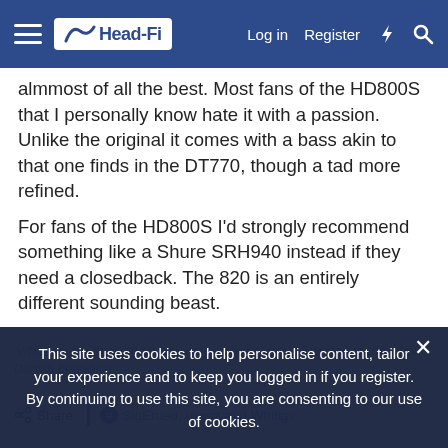Head-Fi — Log in   Register
almmost of all the best. Most fans of the HD800S that I personally know hate it with a passion. Unlike the original it comes with a bass akin to that one finds in the DT770, though a tad more refined.
For fans of the HD800S I'd strongly recommend something like a Shure SRH940 instead if they need a closedback. The 820 is an entirely different sounding beast.
'When you're thinking about gear you're not really listening to the music' - Danish bear-fella
Share   SigErued, vkenz and Whitigir
This site uses cookies to help personalise content, tailor your experience and to keep you logged in if you register.
By continuing to use this site, you are consenting to our use of cookies.
levab
100+ Head-Fier